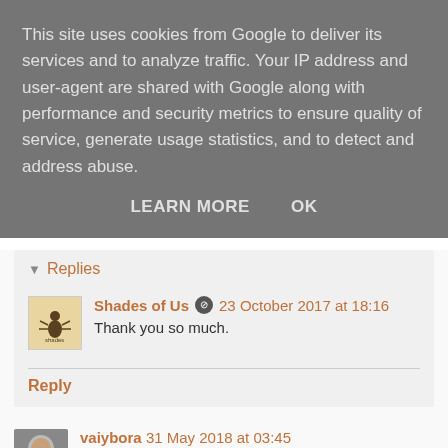This site uses cookies from Google to deliver its services and to analyze traffic. Your IP address and user-agent are shared with Google along with performance and security metrics to ensure quality of service, generate usage statistics, and to detect and address abuse.
LEARN MORE   OK
Replies
Shades of Us  23 October 2017 at 18:16
Thank you so much.
Reply
vaiybora  31 May 2018 at 03:45
I really like your site and content so much,thanks for sharing the information keep updating, looking forward for more posts.